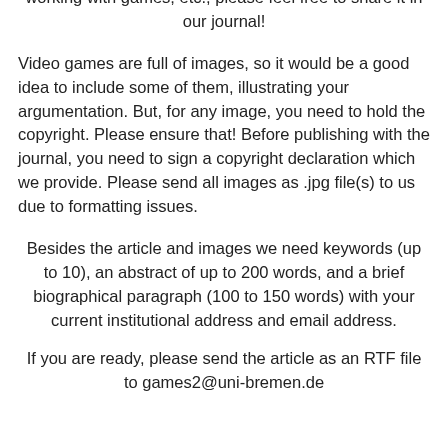religion, culture, and society. For instance, if you have an interview with a game desinger, a pedagoque working with games, etc., please feel free to share it in our journal!
Video games are full of images, so it would be a good idea to include some of them, illustrating your argumentation. But, for any image, you need to hold the copyright. Please ensure that! Before publishing with the journal, you need to sign a copyright declaration which we provide. Please send all images as .jpg file(s) to us due to formatting issues.
Besides the article and images we need keywords (up to 10), an abstract of up to 200 words, and a brief biographical paragraph (100 to 150 words) with your current institutional address and email address.
If you are ready, please send the article as an RTF file to games2@uni-bremen.de